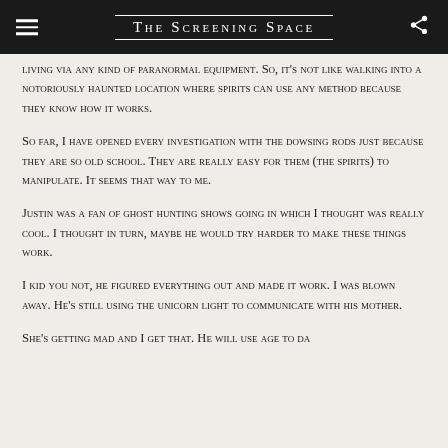The Screening Space
living via any kind of paranormal equipment. So, it's not like walking into a notoriously haunted location where spirits can use any method because they know how it works.
So far, I have opened every investigation with the dowsing rods just because they are so old school. They are really easy for them (the spirits) to manipulate. It seems that way to me.
Justin was a fan of ghost hunting shows going in which I thought was really cool. I thought in turn, maybe he would try harder to make these things work.
I kid you not, he figured everything out and made it work. I was blown away. He's still using the unicorn light to communicate with his mother.
She's getting mad and I get that. He will use age to da...